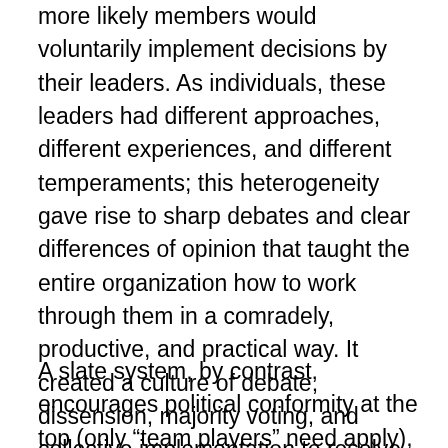more likely members would voluntarily implement decisions by their leaders. As individuals, these leaders had different approaches, different experiences, and different temperaments; this heterogeneity gave rise to sharp debates and clear differences of opinion that taught the entire organization how to work through them in a comradely, productive, and practical way. It created a culture of debate, dissension, majority voting, and collective implementation to resolve contentious issues, many of which did not have a clear-cut “right” answer. This culture came straight from the top of the organization and filtered down into every branch, every cell, and involved every member.
A slate system, by contrast, encourages political conformity at the top (only “team players” need apply), which filters downward, robbing the party of its dynamism.